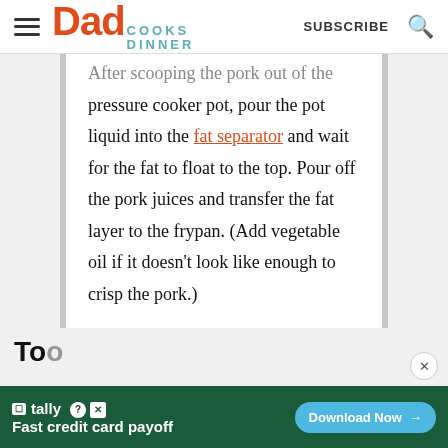Dad Cooks Dinner — SUBSCRIBE
After scooping the pork out of the pressure cooker pot, pour the pot liquid into the fat separator and wait for the fat to float to the top. Pour off the pork juices and transfer the fat layer to the frypan. (Add vegetable oil if it doesn't look like enough to crisp the pork.)
Tools
[Figure (screenshot): Tally advertisement banner: Fast credit card payoff, Download Now button]